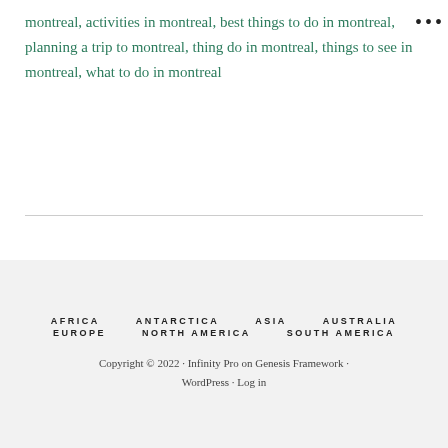montreal, activities in montreal, best things to do in montreal, planning a trip to montreal, things to do in montreal, things to see in montreal, what to do in montreal
AFRICA  ANTARCTICA  ASIA  AUSTRALIA  EUROPE  NORTH AMERICA  SOUTH AMERICA
Copyright © 2022 · Infinity Pro on Genesis Framework · WordPress · Log in